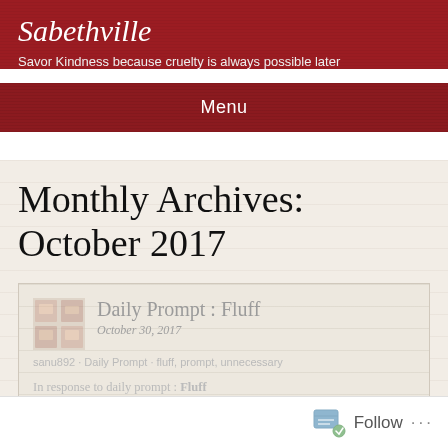Sabethville
Savor Kindness because cruelty is always possible later
Menu
Monthly Archives: October 2017
Daily Prompt : Fluff
October 30, 2017
sanu892 · Daily Prompt · fluff, prompt, unnecessary
In response to daily prompt : Fluff
I want to write a short story,
Follow ...